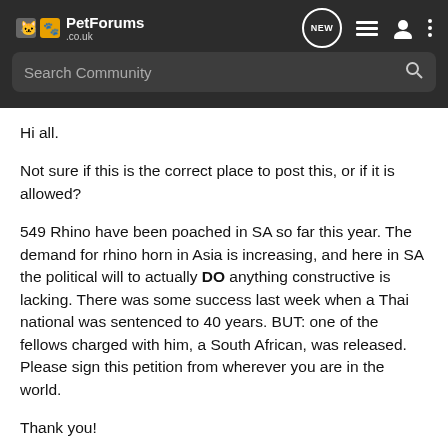PetForums .co.uk — Search Community
Hi all.
Not sure if this is the correct place to post this, or if it is allowed?
549 Rhino have been poached in SA so far this year. The demand for rhino horn in Asia is increasing, and here in SA the political will to actually DO anything constructive is lacking. There was some success last week when a Thai national was sentenced to 40 years. BUT: one of the fellows charged with him, a South African, was released. Please sign this petition from wherever you are in the world.
Thank you!
REINSTATE CRIMINAL CHARGES AGAINST MARINO